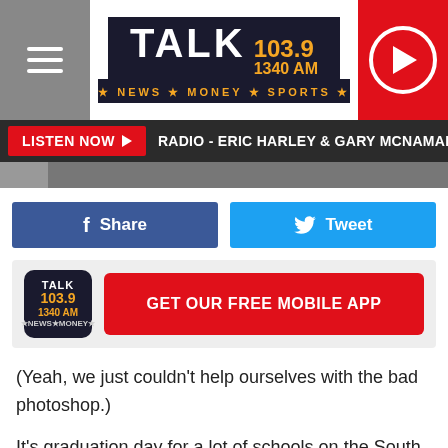[Figure (screenshot): Talk 103.9 / 1340 AM radio station website header with logo, hamburger menu, and play button]
LISTEN NOW ▶  RADIO - ERIC HARLEY & GARY MCNAMARA  RED E
[Figure (screenshot): Facebook Share button and Twitter Tweet button]
[Figure (screenshot): Talk 103.9 logo and GET OUR FREE MOBILE APP button]
(Yeah, we just couldn't help ourselves with the bad photoshop.)
It's graduation day for a lot of schools on the South Plains, as students prepare for a life of questions. Such as: "Do you want fries with that?"